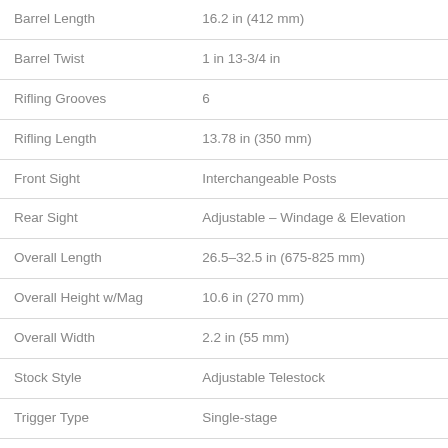| Specification | Value |
| --- | --- |
| Barrel Length | 16.2 in (412 mm) |
| Barrel Twist | 1 in 13-3/4 in |
| Rifling Grooves | 6 |
| Rifling Length | 13.78 in (350 mm) |
| Front Sight | Interchangeable Posts |
| Rear Sight | Adjustable – Windage & Elevation |
| Overall Length | 26.5–32.5 in (675-825 mm) |
| Overall Height w/Mag | 10.6 in (270 mm) |
| Overall Width | 2.2 in (55 mm) |
| Stock Style | Adjustable Telestock |
| Trigger Type | Single-stage |
| Trigger Pull | 6.6-8.8 lbs |
| Safety Type | Manual |
| Principal of Operation | Blowback |